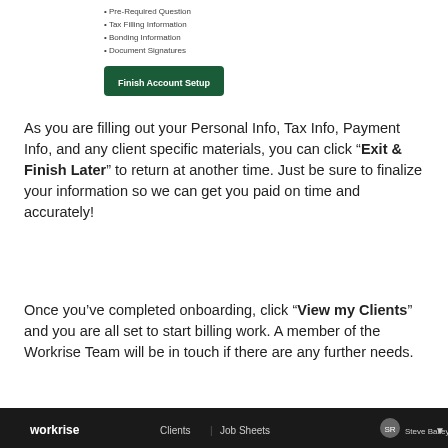[Figure (screenshot): Screenshot of an account setup interface showing list items (Pre-Required Question, Tax Filling Information, Bonding Information, Document Signatures) and a green 'Finish Account Setup' button]
As you are filling out your Personal Info, Tax Info, Payment Info, and any client specific materials, you can click “Exit & Finish Later” to return at another time. Just be sure to finalize your information so we can get you paid on time and accurately!
Once you’ve completed onboarding, click “View my Clients” and you are all set to start billing work. A member of the Workrise Team will be in touch if there are any further needs.
[Figure (screenshot): Screenshot of the Workrise platform navigation bar showing the Workrise logo, Clients and Job Sheets menu items, and a user avatar with 'Steve Bailey' label]